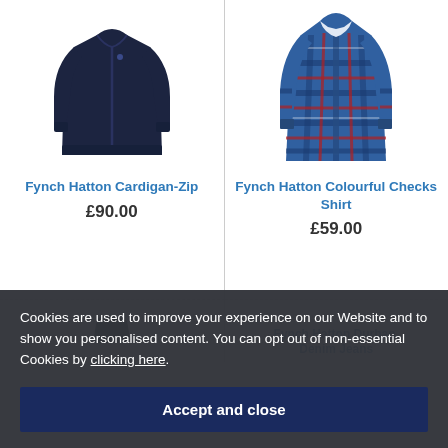[Figure (photo): Navy blue zip-up cardigan sweater on white background]
[Figure (photo): Blue and red plaid check shirt on white background]
Fynch Hatton Cardigan-Zip
£90.00
Fynch Hatton Colourful Checks Shirt
£59.00
[Figure (photo): Partial view of a third product (shoes/bottom of item) - truncated]
Fynch Hatton Durban, Denim Jeans
Cookies are used to improve your experience on our Website and to show you personalised content. You can opt out of non-essential Cookies by clicking here.
Accept and close